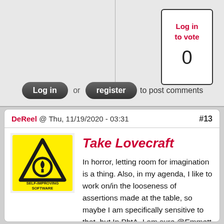Log in to vote
0
Log in or register to post comments
DeReel @ Thu, 11/19/2020 - 03:31  #13
[Figure (logo): Yellow warning triangle logo with 'SELF-IMPROVING SOFTWARE' text]
Take Lovecraft
In horror, letting room for imagination is a thing. Also, in my agenda, I like to work on/in the looseness of assertions made at the table, so maybe I am specifically sensitive to that, but In PbtA, I am sure @Emmett you can feel the power in formulations like (approx) "You exit the scene leaving something." or "Harm". Ever heard of someone trying to Seize the dead memories of their joyful youth By Force ?

Maybe that's just me Princess playing in the void of a form that was not meant for that
(Vincent Baker in Anyway : "If, on the other hand,